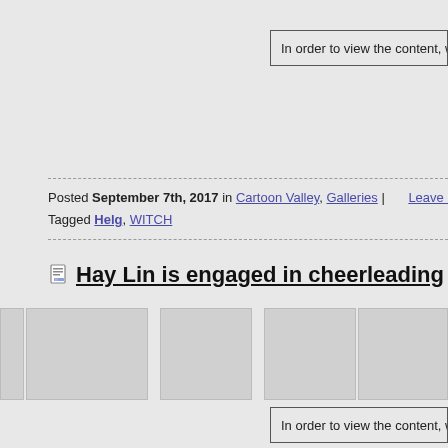In order to view the content, we
Posted September 7th, 2017 in Cartoon Valley, Galleries | Leave a comme
Tagged Helg, WITCH
Hay Lin is engaged in cheerleading
[Figure (photo): Row of image thumbnails (content blocked/placeholder)]
In order to view the content, we